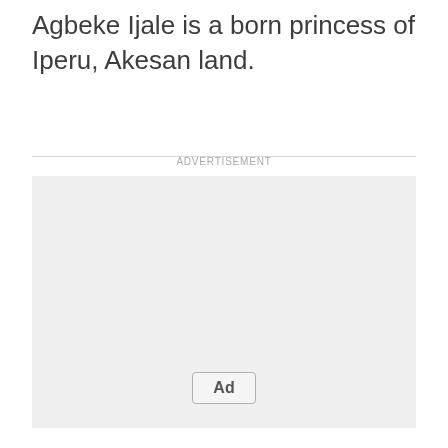Agbeke Ijale is a born princess of Iperu, Akesan land.
[Figure (other): Advertisement placeholder box with 'Ad' button label]